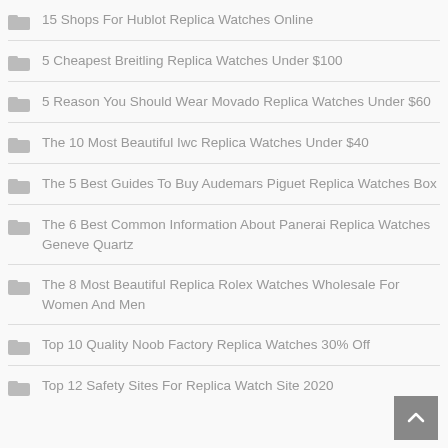15 Shops For Hublot Replica Watches Online
5 Cheapest Breitling Replica Watches Under $100
5 Reason You Should Wear Movado Replica Watches Under $60
The 10 Most Beautiful Iwc Replica Watches Under $40
The 5 Best Guides To Buy Audemars Piguet Replica Watches Box
The 6 Best Common Information About Panerai Replica Watches Geneve Quartz
The 8 Most Beautiful Replica Rolex Watches Wholesale For Women And Men
Top 10 Quality Noob Factory Replica Watches 30% Off
Top 12 Safety Sites For Replica Watch Site 2020